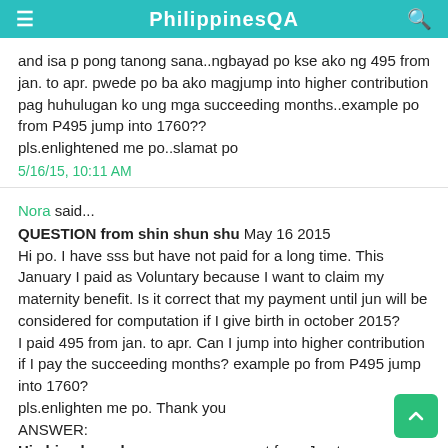PhilippinesQA
and isa p pong tanong sana..ngbayad po kse ako ng 495 from jan. to apr. pwede po ba ako magjump into higher contribution pag huhulugan ko ung mga succeeding months..example po from P495 jump into 1760??
pls.enlightened me po..slamat po
5/16/15, 10:11 AM
Nora said...
QUESTION from shin shun shu May 16 2015
Hi po. I have sss but have not paid for a long time. This January I paid as Voluntary because I want to claim my maternity benefit. Is it correct that my payment until jun will be considered for computation if I give birth in october 2015?
I paid 495 from jan. to apr. Can I jump into higher contribution if I pay the succeeding months? example po from P495 jump into 1760?
pls.enlighten me po. Thank you
ANSWER:
Hi shin shun shu, yes, your payment from Jan to Jun will be considered for computation. For Ma...